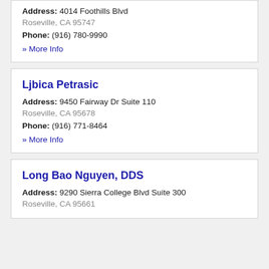Address: 4014 Foothills Blvd
Roseville, CA 95747
Phone: (916) 780-9990
» More Info
Ljbica Petrasic
Address: 9450 Fairway Dr Suite 110
Roseville, CA 95678
Phone: (916) 771-8464
» More Info
Long Bao Nguyen, DDS
Address: 9290 Sierra College Blvd Suite 300
Roseville, CA 95661